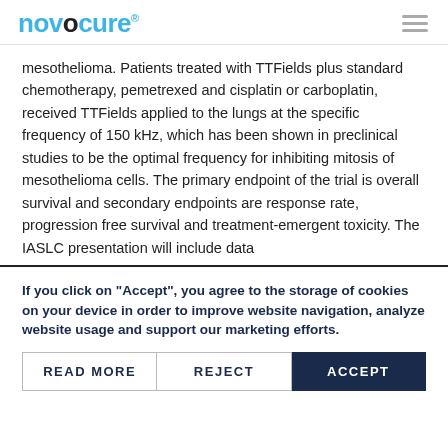novocure
mesothelioma. Patients treated with TTFields plus standard chemotherapy, pemetrexed and cisplatin or carboplatin, received TTFields applied to the lungs at the specific frequency of 150 kHz, which has been shown in preclinical studies to be the optimal frequency for inhibiting mitosis of mesothelioma cells. The primary endpoint of the trial is overall survival and secondary endpoints are response rate, progression free survival and treatment-emergent toxicity. The IASLC presentation will include data
If you click on "Accept", you agree to the storage of cookies on your device in order to improve website navigation, analyze website usage and support our marketing efforts.
READ MORE
REJECT
ACCEPT